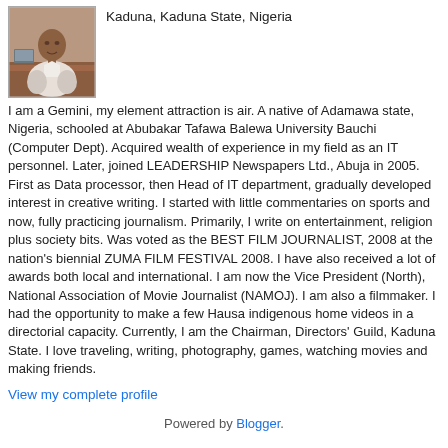[Figure (photo): Profile photo of a person seated, wearing white clothing, against a reddish-brown background]
Kaduna, Kaduna State, Nigeria
I am a Gemini, my element attraction is air. A native of Adamawa state, Nigeria, schooled at Abubakar Tafawa Balewa University Bauchi (Computer Dept). Acquired wealth of experience in my field as an IT personnel. Later, joined LEADERSHIP Newspapers Ltd., Abuja in 2005. First as Data processor, then Head of IT department, gradually developed interest in creative writing. I started with little commentaries on sports and now, fully practicing journalism. Primarily, I write on entertainment, religion plus society bits. Was voted as the BEST FILM JOURNALIST, 2008 at the nation's biennial ZUMA FILM FESTIVAL 2008. I have also received a lot of awards both local and international. I am now the Vice President (North), National Association of Movie Journalist (NAMOJ). I am also a filmmaker. I had the opportunity to make a few Hausa indigenous home videos in a directorial capacity. Currently, I am the Chairman, Directors' Guild, Kaduna State. I love traveling, writing, photography, games, watching movies and making friends.
View my complete profile
Powered by Blogger.